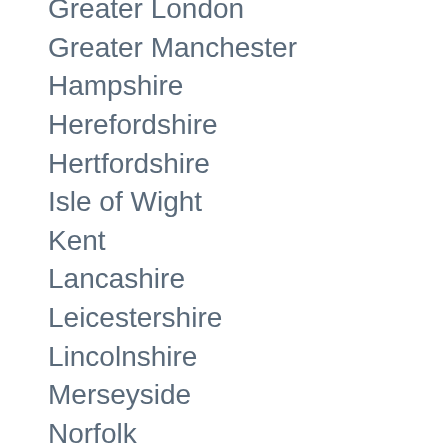Greater London
Greater Manchester
Hampshire
Herefordshire
Hertfordshire
Isle of Wight
Kent
Lancashire
Leicestershire
Lincolnshire
Merseyside
Norfolk
North Yorkshire
Northamptonshire
Northumberland
Nottinghamshire
Oxfordshire
Shropshire
Somerset